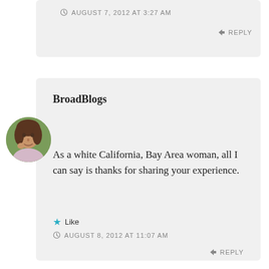AUGUST 7, 2012 AT 3:27 AM
REPLY
[Figure (photo): Round avatar photo of a woman with brown hair outdoors]
BroadBlogs
As a white California, Bay Area woman, all I can say is thanks for sharing your experience.
Like
AUGUST 8, 2012 AT 11:07 AM
REPLY